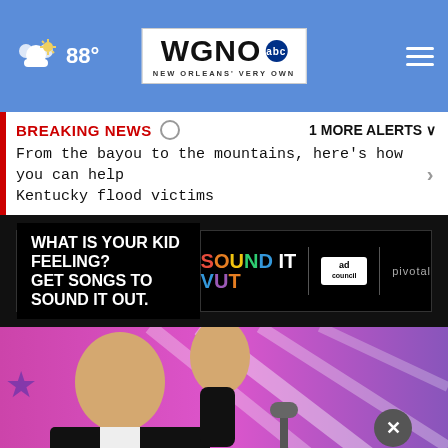WGNO ABC NEW ORLEANS' VERY OWN — 88°
BREAKING NEWS   1 MORE ALERTS
From the bayou to the mountains, here's how you can help Kentucky flood victims
[Figure (screenshot): Advertisement: WHAT IS YOUR KID FEELING? GET SONGS TO SOUND IT OUT. — Sound It Out, Ad Council, pivotal]
[Figure (photo): Man in suit waving on stage with pink/purple background with diagonal white stripes]
[Figure (screenshot): Advertisement overlay: SHE CAN STEM with dark navy background]